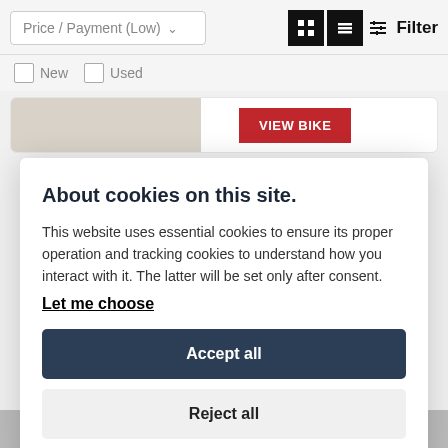Price / Payment (Low)
[Figure (screenshot): Grid view icon button (black background, white grid dots)]
[Figure (screenshot): List view icon button (black background, white lines)]
Filter
New
Used
VIEW BIKE
About cookies on this site.
This website uses essential cookies to ensure its proper operation and tracking cookies to understand how you interact with it. The latter will be set only after consent.
Let me choose
Accept all
Reject all